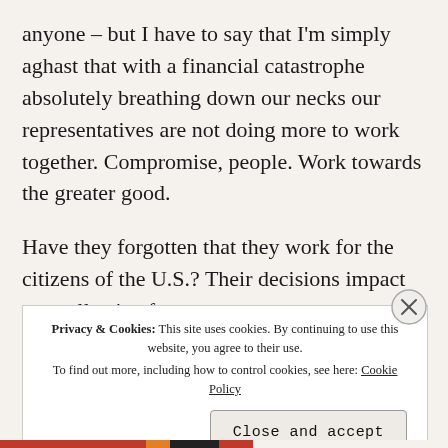anyone – but I have to say that I'm simply aghast that with a financial catastrophe absolutely breathing down our necks our representatives are not doing more to work together. Compromise, people. Work towards the greater good.
Have they forgotten that they work for the citizens of the U.S.? Their decisions impact our collective futures.
S... t...
Privacy & Cookies: This site uses cookies. By continuing to use this website, you agree to their use. To find out more, including how to control cookies, see here: Cookie Policy